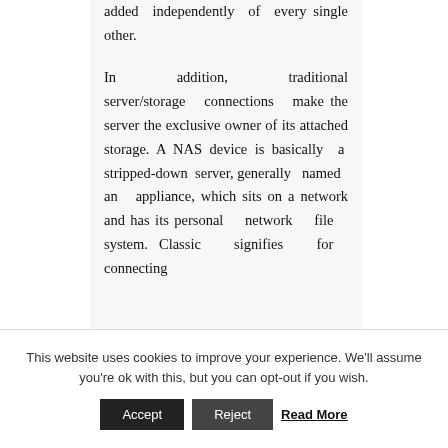added independently of every single other.

In addition, traditional server/storage connections make the server the exclusive owner of its attached storage. A NAS device is basically a stripped-down server, generally named an appliance, which sits on a network and has its personal network file system. Classic signifies for connecting
This website uses cookies to improve your experience. We'll assume you're ok with this, but you can opt-out if you wish.